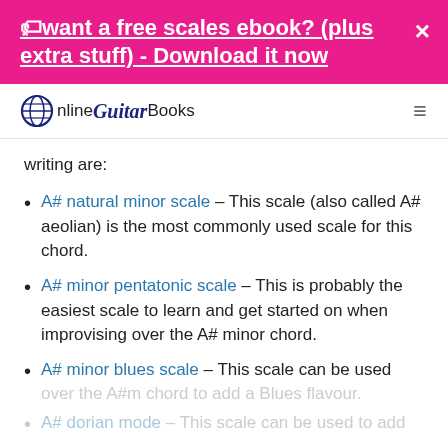want a free scales ebook? (plus extra stuff) - Download it now
Online Guitar Books
writing are:
A# natural minor scale – This scale (also called A# aeolian) is the most commonly used scale for this chord.
A# minor pentatonic scale – This is probably the easiest scale to learn and get started on when improvising over the A# minor chord.
A# minor blues scale – This scale can be used over the A#m chord to add a Blues flavour.
A# dorian mode – This scale can be used to add